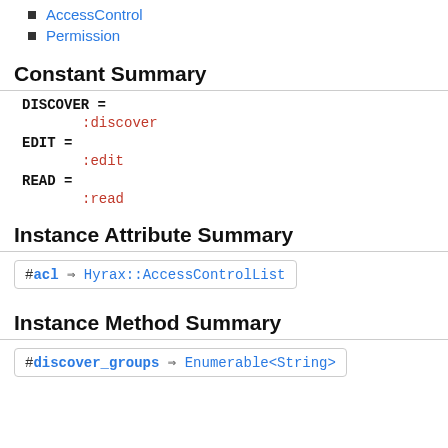AccessControl
Permission
Constant Summary
DISCOVER =
:discover
EDIT =
:edit
READ =
:read
Instance Attribute Summary
#acl => Hyrax::AccessControlList
Instance Method Summary
#discover_groups => Enumerable<String>